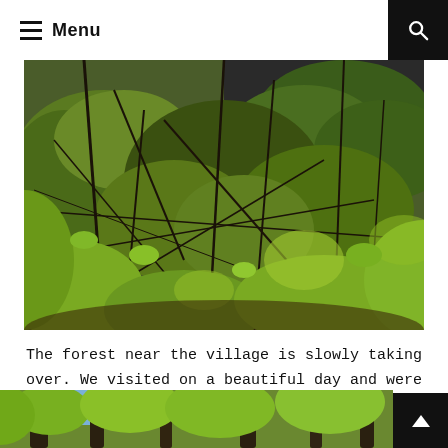Menu
[Figure (photo): Dense forest undergrowth with tangled branches and lush green foliage, dark brick wall visible in background]
The forest near the village is slowly taking over. We visited on a beautiful day and were able to see how much nature was thriving in this once inhabited place.
[Figure (photo): Bottom strip of another forest photo showing trees with light blue sky visible through branches]